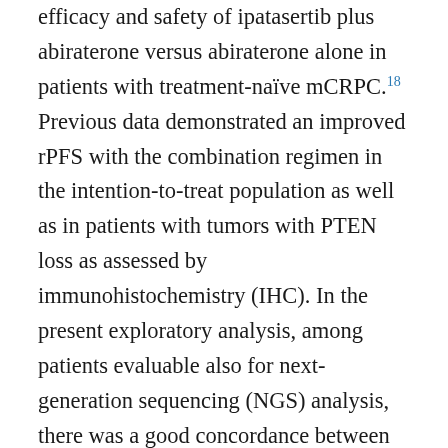efficacy and safety of ipatasertib plus abiraterone versus abiraterone alone in patients with treatment-naïve mCRPC.18 Previous data demonstrated an improved rPFS with the combination regimen in the intention-to-treat population as well as in patients with tumors with PTEN loss as assessed by immunohistochemistry (IHC). In the present exploratory analysis, among patients evaluable also for next-generation sequencing (NGS) analysis, there was a good concordance between PTEN loss by IHC and NGS. Notably, stratifying patients by PTEN loss determined by NGS confirmed the rPFS benefit with ipatasertib plus abiraterone, showing that survival outcomes can be